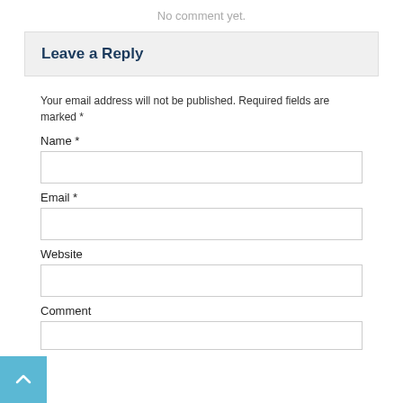No comment yet.
Leave a Reply
Your email address will not be published. Required fields are marked *
Name *
Email *
Website
Comment